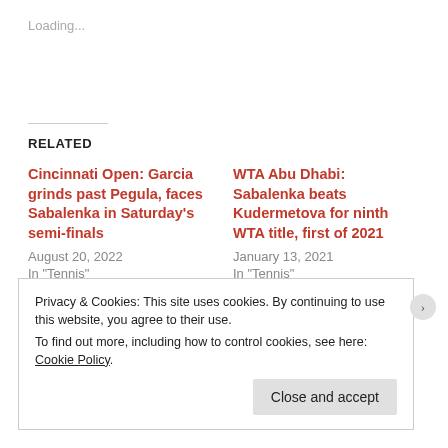Loading...
RELATED
Cincinnati Open: Garcia grinds past Pegula, faces Sabalenka in Saturday's semi-finals
August 20, 2022
In "Tennis"
WTA Abu Dhabi: Sabalenka beats Kudermetova for ninth WTA title, first of 2021
January 13, 2021
In "Tennis"
WTA Abu Dhabi: Sakkari rallies to earn for big win vs.
Privacy & Cookies: This site uses cookies. By continuing to use this website, you agree to their use.
To find out more, including how to control cookies, see here: Cookie Policy